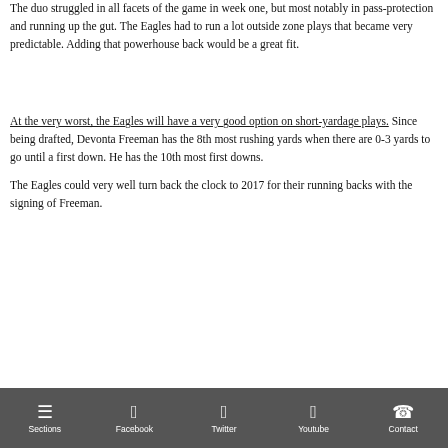The duo struggled in all facets of the game in week one, but most notably in pass-protection and running up the gut. The Eagles had to run a lot outside zone plays that became very predictable. Adding that powerhouse back would be a great fit.
At the very worst, the Eagles will have a very good option on short-yardage plays. Since being drafted, Devonta Freeman has the 8th most rushing yards when there are 0-3 yards to go until a first down. He has the 10th most first downs.
The Eagles could very well turn back the clock to 2017 for their running backs with the signing of Freeman.
Sections | Facebook | Twitter | Youtube | Contact